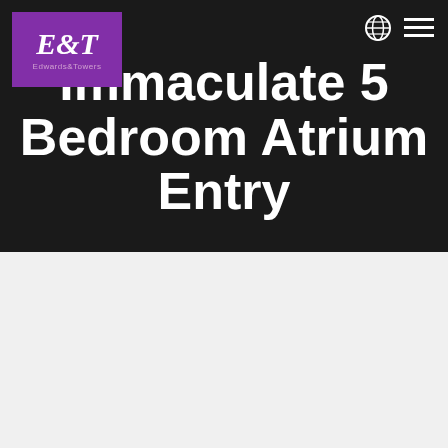[Figure (logo): E&T Edwards & Towers logo with purple background and white text]
Immaculate 5 Bedroom Atrium Entry
This website stores cookies on your computer. These cookies are used to collect information about how you interact with our website and allow us to remember you. We use this information in order to improve and customize your browsing experience and for analytics and metrics about our visitors both on this website and other media. To find out more about the cookies we use, see our Privacy Policy
Accept